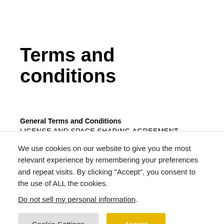Terms and conditions
General Terms and Conditions
LICENSE AND SPACE SHARING AGREEMENT
This LICENSE AND SPACE SHARING AGREEMENT (this
We use cookies on our website to give you the most relevant experience by remembering your preferences and repeat visits. By clicking "Accept", you consent to the use of ALL the cookies.
Do not sell my personal information.